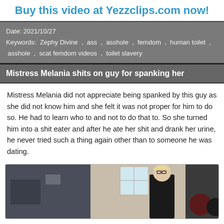Buy this video at Yezzclips.com now!
Date: 2021/10/27
Keywords: Zephy Divine , ass , asshole , femdom , human toilet , asshole , scat femdom videos , toilet slavery
Mistress Melania shits on guy for spanking her
Mistress Melania did not appreciate being spanked by this guy as she did not know him and she felt it was not proper for him to do so. He had to learn who to and not to do that to. So she turned him into a shit eater and after he ate her shit and drank her urine, he never tried such a thing again other than to someone he was dating.
[Figure (photo): Video thumbnail showing a woman in black attire with other figures in a room]